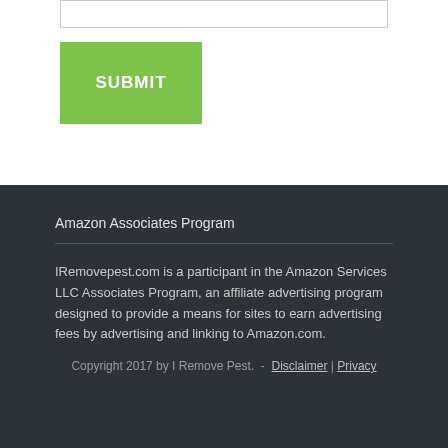[Figure (other): Green SUBMIT button on a web form, with a textarea box at top]
Amazon Associates Program
IRemovepest.com is a participant in the Amazon Services LLC Associates Program, an affiliate advertising program designed to provide a means for sites to earn advertising fees by advertising and linking to Amazon.com.
Copyright 2017 by I Remove Pest.  -  Disclaimer | Privacy